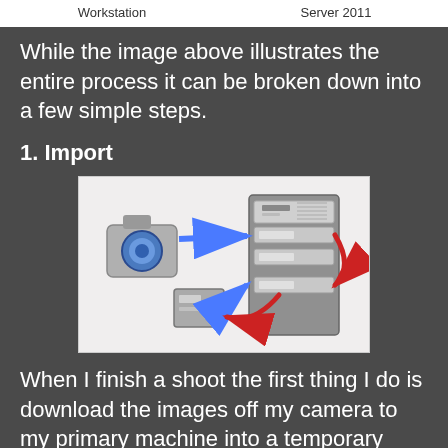Workstation   Server 2011
While the image above illustrates the entire process it can be broken down into a few simple steps.
1. Import
[Figure (illustration): Diagram showing a camera and a disk/drive on the left, with blue arrows pointing right toward a server cabinet, and red curved arrows indicating a cyclic or transfer process between drives in the server.]
When I finish a shoot the first thing I do is download the images off my camera to my primary machine into a temporary offloading directory on the primary drive. This kicks off a couple of processes that